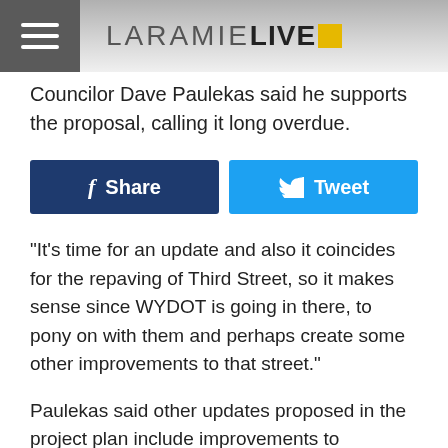LARAMIE LIVE
Councilor Dave Paulekas said he supports the proposal, calling it long overdue.
[Figure (other): Social sharing buttons: Facebook Share and Twitter Tweet]
“It’s time for an update and also it coincides for the repaving of Third Street, so it makes sense since WYDOT is going in there, to pony on with them and perhaps create some other improvements to that street.”
Paulekas said other updates proposed in the project plan include improvements to sidewalks and the façade along the thoroughfare.
An addendum to the plan provided by WYDOT lists other possible projects that could be included with their 2020